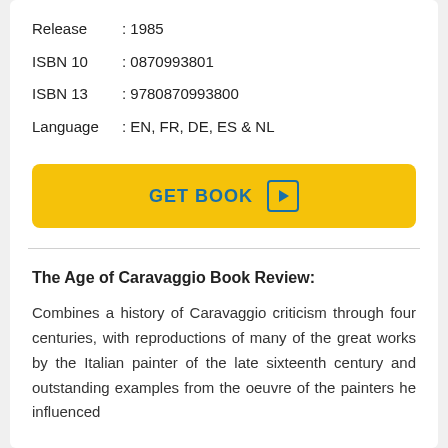Release : 1985
ISBN 10 : 0870993801
ISBN 13 : 9780870993800
Language : EN, FR, DE, ES & NL
[Figure (other): Yellow GET BOOK button with play icon]
The Age of Caravaggio Book Review:
Combines a history of Caravaggio criticism through four centuries, with reproductions of many of the great works by the Italian painter of the late sixteenth century and outstanding examples from the oeuvre of the painters he influenced